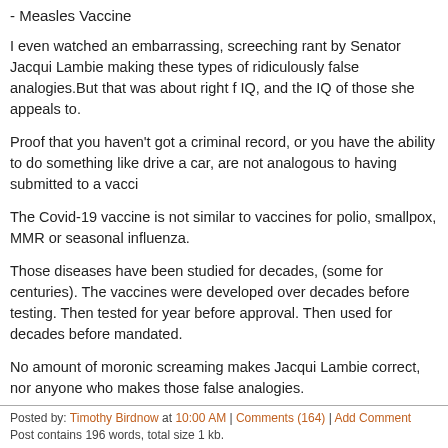- Measles Vaccine
I even watched an embarrassing, screeching rant by Senator Jacqui Lambie making these types of ridiculously false analogies.But that was about right for her IQ, and the IQ of those she appeals to.
Proof that you haven't got a criminal record, or you have the ability to do something like drive a car, are not analogous to having submitted to a vacci...
The Covid-19 vaccine is not similar to vaccines for polio, smallpox, MMR or seasonal influenza.
Those diseases have been studied for decades, (some for centuries). The vaccines were developed over decades before testing. Then tested for years before approval. Then used for decades before mandated.
No amount of moronic screaming makes Jacqui Lambie correct, nor anyone who makes those false analogies.
Tim adds:
Amen. These are not the same things at all. This is more akin to telling everyone they have to fly on a plane with a student pilot.
Posted by: Timothy Birdnow at 10:00 AM | Comments (164) | Add Comment
Post contains 196 words, total size 1 kb.